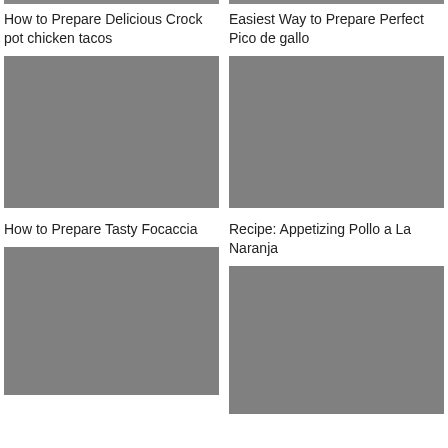[Figure (other): Gray placeholder image top-left]
How to Prepare Delicious Crock pot chicken tacos
[Figure (other): Gray placeholder image top-right]
Easiest Way to Prepare Perfect Pico de gallo
[Figure (other): Gray placeholder image middle-left]
How to Prepare Tasty Focaccia
[Figure (other): Gray placeholder image middle-right]
Recipe: Appetizing Pollo a La Naranja
[Figure (other): Gray placeholder image bottom-left]
[Figure (other): Gray placeholder image bottom-right]